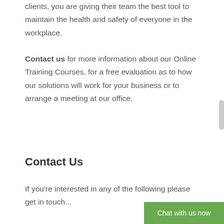clients, you are giving their team the best tool to maintain the health and safety of everyone in the workplace.
Contact us for more information about our Online Training Courses, for a free evaluation as to how our solutions will work for your business or to arrange a meeting at our office.
Contact Us
If you're interested in any of the following please get in touch...